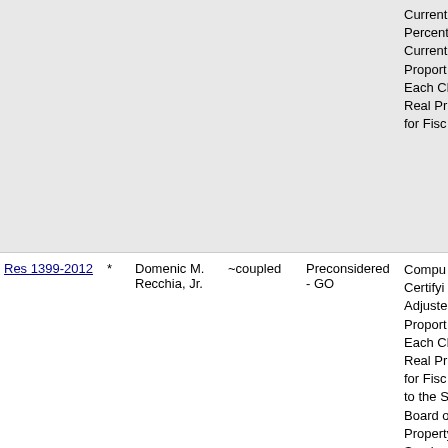| Resolution | * | Sponsor | Coupling | Status | Description |
| --- | --- | --- | --- | --- | --- |
|  |  |  |  |  | Current Percent Current Proportion Each Cl Real Pr for Fisc |
| Res 1399-2012 | * | Domenic M. Recchia, Jr. | ~coupled | Preconsidered - GO | Computing Certifying Adjusted Proportion Each Cl Real Pr for Fisc to the S Board of Property Service |
| Res 1400-2012 | * | Domenic M. Recchia, Jr. | ~coupled | Preconsidered - GO | Approving new design and change the design of certain organizations receive in the B Budget. |